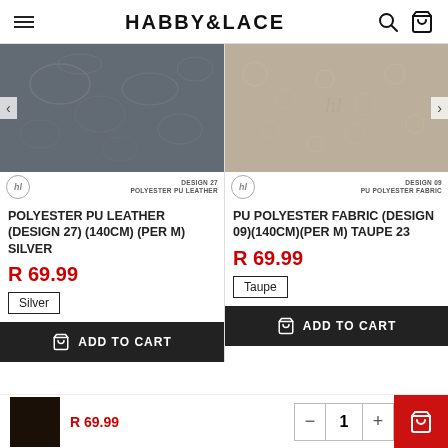HABBY&LACE
[Figure (photo): Gray polyester PU leather fabric texture (Design 27), silver coloured]
DESIGN 27
POLYESTER PU LEATHER
POLYESTER PU LEATHER (DESIGN 27) (140CM) (PER M) SILVER
R 69.99
Silver
ADD TO CART
[Figure (photo): Taupe PU polyester fabric texture (Design 09)]
DESIGN 09
PU POLYESTER FABRIC
PU POLYESTER FABRIC (DESIGN 09)(140CM)(PER M) TAUPE 23
R 69.99
Taupe
ADD TO CART
R 69.99
1